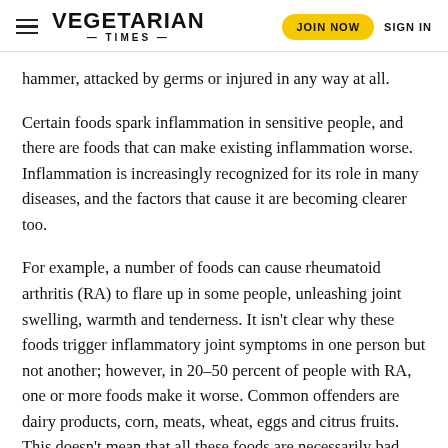VEGETARIAN TIMES | JOIN NOW | SIGN IN
hammer, attacked by germs or injured in any way at all.
Certain foods spark inflammation in sensitive people, and there are foods that can make existing inflammation worse. Inflammation is increasingly recognized for its role in many diseases, and the factors that cause it are becoming clearer too.
For example, a number of foods can cause rheumatoid arthritis (RA) to flare up in some people, unleashing joint swelling, warmth and tenderness. It isn't clear why these foods trigger inflammatory joint symptoms in one person but not another; however, in 20–50 percent of people with RA, one or more foods make it worse. Common offenders are dairy products, corn, meats, wheat, eggs and citrus fruits. This doesn't mean that all these foods are necessarily bad.